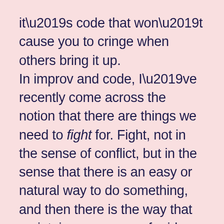it’s code that won’t cause you to cringe when others bring it up.

In improv and code, I’ve recently come across the notion that there are things we need to fight for. Fight, not in the sense of conflict, but in the sense that there is an easy or natural way to do something, and then there is the way that maintains our sense of pride and quality. Not necessarily the “right” or high-minded way to do something, but the way that does not leave us feeling compromised as a creative